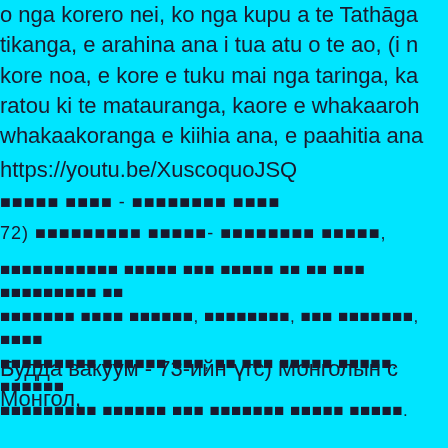o nga korero nei, ko nga kupu a te Tathāga tikanga, e arahina ana i tua atu o te ao, (i n kore noa, e kore e tuku mai nga taringa, ka ratou ki te matauranga, kaore e whakaaroh whakaakoranga e kiihia ana, e paahitia ana
https://youtu.be/XuscoquoJSQ
[Myanmar text] [Myanmar text]
72) [Myanmar text]- [Myanmar text],
[Myanmar text paragraph]
Будда вакуум - 73-ийн үгс) Монголын с Монгол,
Ирээдүйд, Татахагийн өгүүллийн үгс б гүнзгий утгатай, гүн гүнзгий утгатай үг хуврагууд тэнд байх болно мэдлэгээ өө ашиглахгүй, эдгээр сургаалыг эзэмших,
https://youtu.be/vH36_Fiv_RQ
[Myanmar] Vacana - -Classical [Myanmar] 74), Classic